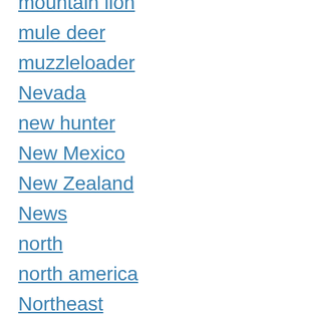mountain lion
mule deer
muzzleloader
Nevada
new hunter
New Mexico
New Zealand
News
north
north america
Northeast
NRA
obit
October
odor control
odor elimination